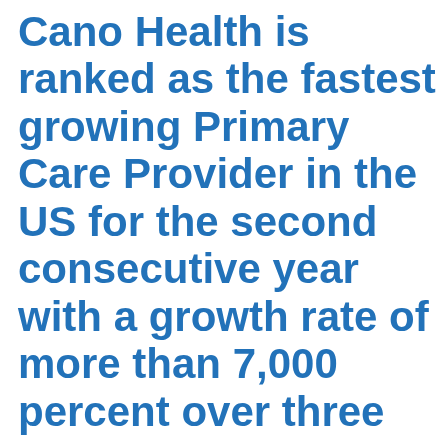Cano Health is ranked as the fastest growing Primary Care Provider in the US for the second consecutive year with a growth rate of more than 7,000 percent over three years,